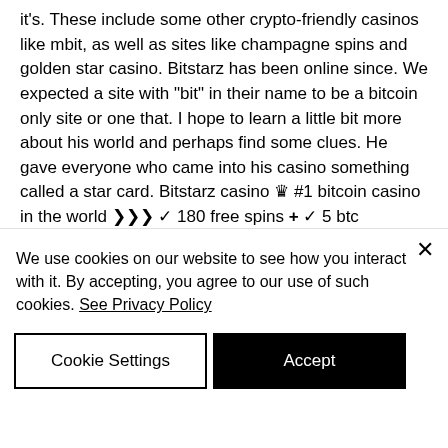it's. These include some other crypto-friendly casinos like mbit, as well as sites like champagne spins and golden star casino. Bitstarz has been online since. We expected a site with "bit" in their name to be a bitcoin only site or one that. I hope to learn a little bit more about his world and perhaps find some clues. He gave everyone who came into his casino something called a star card. Bitstarz casino ♛ #1 bitcoin casino in the world ❯❯❯ ✓ 180 free spins ✚ ✓ 5 btc welcome bonus  2959 gambling games at bit starz in [2022] 🎰 play. Simply put, bitstarz is the best bitcoin casino online. With 3200 games, it
We use cookies on our website to see how you interact with it. By accepting, you agree to our use of such cookies. See Privacy Policy